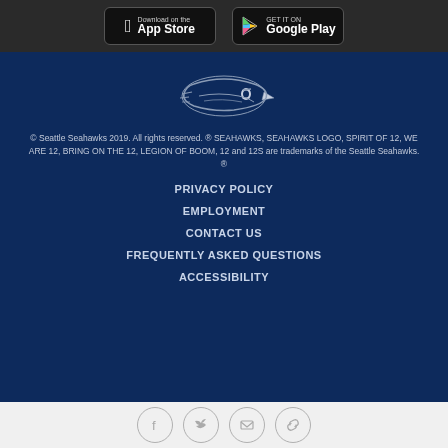[Figure (logo): App Store download button with Apple logo]
[Figure (logo): Google Play download button with Play logo]
[Figure (logo): Seattle Seahawks logo - hawk head silhouette in navy and silver]
© Seattle Seahawks 2019. All rights reserved. ® SEAHAWKS, SEAHAWKS LOGO, SPIRIT OF 12, WE ARE 12, BRING ON THE 12, LEGION OF BOOM, 12 and 12S are trademarks of the Seattle Seahawks. ®
PRIVACY POLICY
EMPLOYMENT
CONTACT US
FREQUENTLY ASKED QUESTIONS
ACCESSIBILITY
[Figure (illustration): Social media icons: Facebook, Twitter, Email, Link - circular outlined icons in gray]